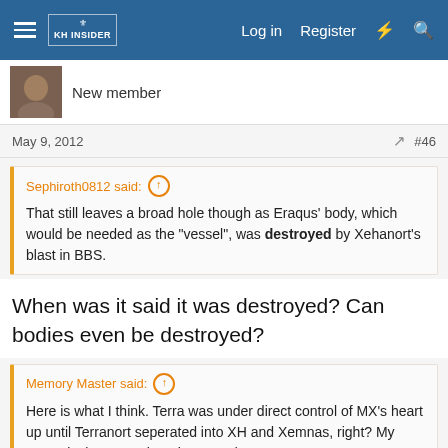Log in  Register
New member
May 9, 2012   #46
Sephiroth0812 said: That still leaves a broad hole though as Eraqus' body, which would be needed as the "vessel", was destroyed by Xehanort's blast in BBS.
When was it said it was destroyed? Can bodies even be destroyed?
Memory Master said: Here is what I think. Terra was under direct control of MX's heart up until Terranort seperated into XH and Xemnas, right? My guess is that even though MX and Terra are seperate now, obviously we know Terra still has a fragment of MX's heart in him and is one of the XIII Darknesses for the time being. Given all of this I would Terra is more